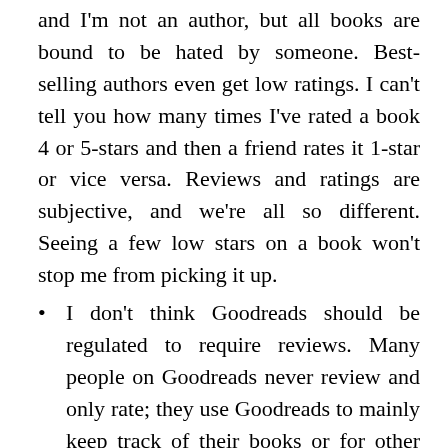and I'm not an author, but all books are bound to be hated by someone. Best-selling authors even get low ratings. I can't tell you how many times I've rated a book 4 or 5-stars and then a friend rates it 1-star or vice versa. Reviews and ratings are subjective, and we're all so different. Seeing a few low stars on a book won't stop me from picking it up.
I don't think Goodreads should be regulated to require reviews. Many people on Goodreads never review and only rate; they use Goodreads to mainly keep track of their books or for other reasons. If Goodreads started requiring reviews, it seems like it would